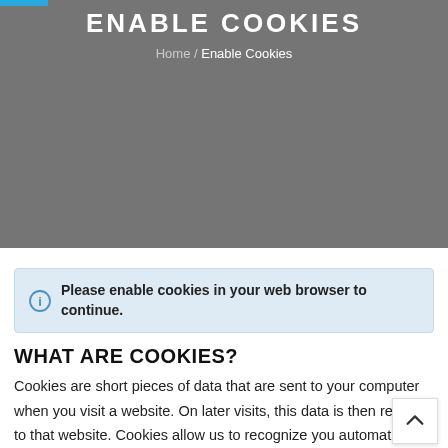ENABLE COOKIES
Home / Enable Cookies
Please enable cookies in your web browser to continue.
WHAT ARE COOKIES?
Cookies are short pieces of data that are sent to your computer when you visit a website. On later visits, this data is then returned to that website. Cookies allow us to recognize you automatically whenever you visit our site so that we can personalize your experience and provide you with better service. We do...